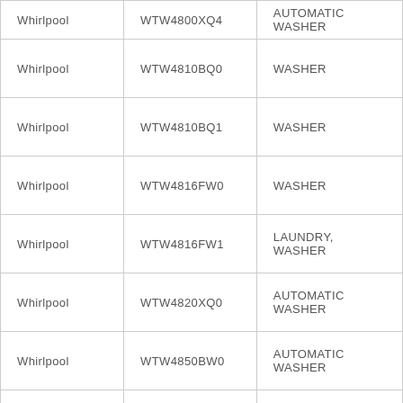| Whirlpool | WTW4800XQ4 | AUTOMATIC WASHER |
| Whirlpool | WTW4810BQ0 | WASHER |
| Whirlpool | WTW4810BQ1 | WASHER |
| Whirlpool | WTW4816FW0 | WASHER |
| Whirlpool | WTW4816FW1 | LAUNDRY, WASHER |
| Whirlpool | WTW4820XQ0 | AUTOMATIC WASHER |
| Whirlpool | WTW4850BW0 | AUTOMATIC WASHER |
| Whirlpool | WTW4850BW1 | WASHER |
| Whirlpool | WTW4850BW2 | WASHER |